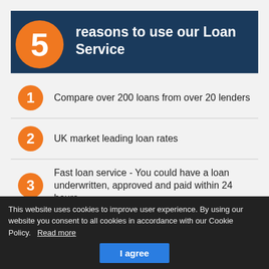5 reasons to use our Loan Service
Compare over 200 loans from over 20 lenders
UK market leading loan rates
Fast loan service - You could have a loan underwritten, approved and paid within 24 hours
Credit to suit all circumstances
This website uses cookies to improve user experience. By using our website you consent to all cookies in accordance with our Cookie Policy. Read more
I agree